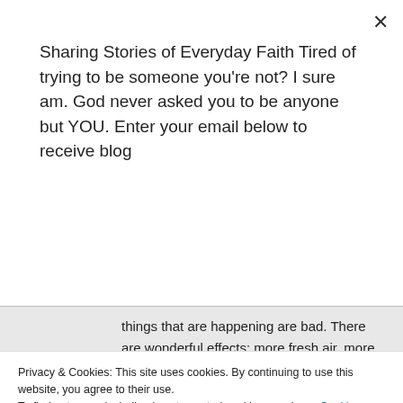Sharing Stories of Everyday Faith Tired of trying to be someone you're not? I sure am. God never asked you to be anyone but YOU. Enter your email below to receive blog
Subscribe
things that are happening are bad. There are wonderful effects: more fresh air, more time with the kids, learning to make do, being forced to slow down on extra activities, etc. But change is hard; even good change.
★ Like
Privacy & Cookies: This site uses cookies. By continuing to use this website, you agree to their use.
To find out more, including how to control cookies, see here: Cookie Policy
Close and accept